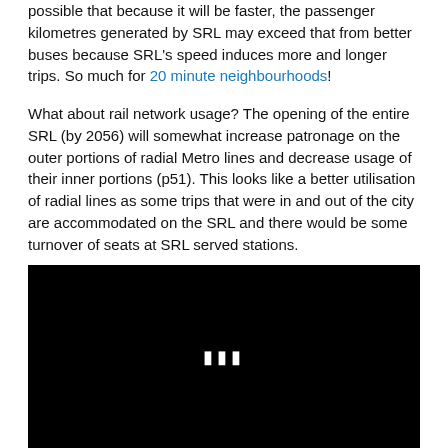possible that because it will be faster, the passenger kilometres generated by SRL may exceed that from better buses because SRL's speed induces more and longer trips. So much for 20 minute neighbourhoods!
What about rail network usage? The opening of the entire SRL (by 2056) will somewhat increase patronage on the outer portions of radial Metro lines and decrease usage of their inner portions (p51). This looks like a better utilisation of radial lines as some trips that were in and out of the city are accommodated on the SRL and there would be some turnover of seats at SRL served stations.
[Figure (other): Black video player area with white ellipsis/pause indicator in the center]